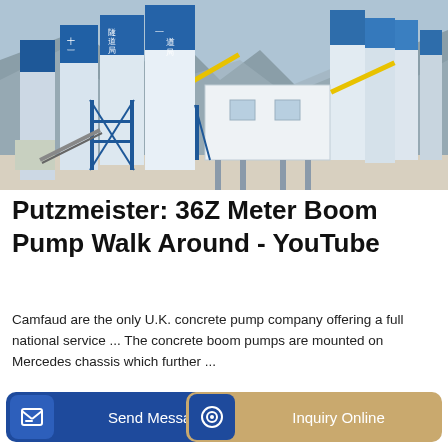[Figure (photo): Industrial concrete batching plant with tall blue and white cylindrical silos and structural steel framework, set against a rocky hillside background. Chinese text visible on the silos.]
Putzmeister: 36Z Meter Boom Pump Walk Around - YouTube
Camfaud are the only U.K. concrete pump company offering a full national service ... The concrete boom pumps are mounted on Mercedes chassis which further ...
Learn More
Send Message   Inquiry Online